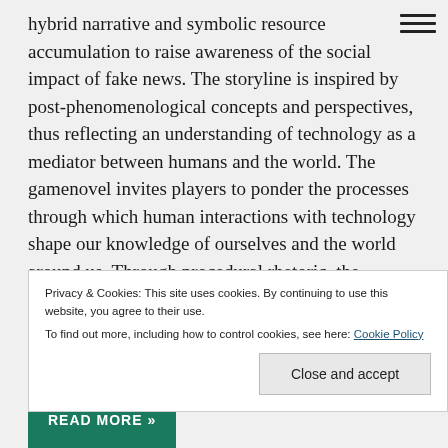[Figure (other): Hamburger menu icon (three horizontal lines) in top-right corner]
hybrid narrative and symbolic resource accumulation to raise awareness of the social impact of fake news. The storyline is inspired by post-phenomenological concepts and perspectives, thus reflecting an understanding of technology as a mediator between humans and the world. The gamenovel invites players to ponder the processes through which human interactions with technology shape our knowledge of ourselves and the world around us. Through procedural rhetoric, the gamenovel draws attention to the ubiquity of disinformation ecosystems in an
Privacy & Cookies: This site uses cookies. By continuing to use this website, you agree to their use. To find out more, including how to control cookies, see here: Cookie Policy
Close and accept
READ MORE »